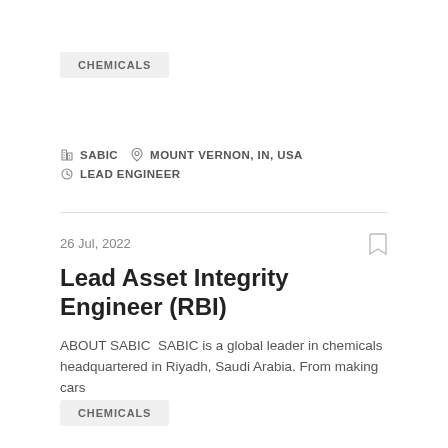CHEMICALS
SABIC   MOUNT VERNON, IN, USA   LEAD ENGINEER
26 Jul, 2022
Lead Asset Integrity Engineer (RBI)
ABOUT SABIC  SABIC is a global leader in chemicals headquartered in Riyadh, Saudi Arabia. From making cars
CHEMICALS